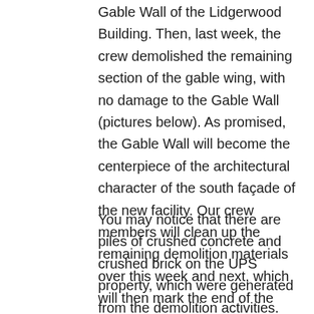Gable Wall of the Lidgerwood Building. Then, last week, the crew demolished the remaining section of the gable wing, with no damage to the Gable Wall (pictures below). As promised, the Gable Wall will become the centerpiece of the architectural character of the south façade of the new facility. Our crew members will clean up the remaining demolition materials over this week and next, which will then mark the end of the demolition phase of the project.
You may notice that there are piles of crushed concrete and crushed brick on the UPS property, which were generated from the demolition activities. This material will eventually be used to raise the elevation of the site, which will improve its resiliency and help protect neighboring properties."